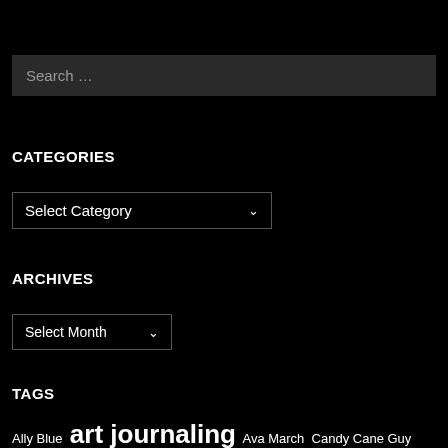Search …
CATEGORIES
Select Category
ARCHIVES
Select Month
TAGS
Ally Blue  art journaling  Ava March  Candy Cane Guy  Clara London  Eden Winters